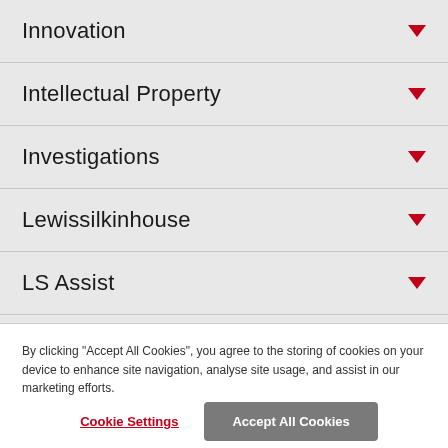Innovation
Intellectual Property
Investigations
Lewissilkinhouse
LS Assist
LS Presents
LS Solutions
By clicking "Accept All Cookies", you agree to the storing of cookies on your device to enhance site navigation, analyse site usage, and assist in our marketing efforts.
Cookie Settings
Accept All Cookies